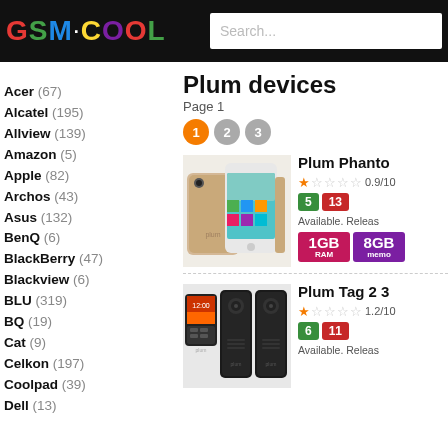GSM COOL — Search bar
Plum devices
Page 1
Acer (67)
Alcatel (195)
Allview (139)
Amazon (5)
Apple (82)
Archos (43)
Asus (132)
BenQ (6)
BlackBerry (47)
Blackview (6)
BLU (319)
BQ (19)
Cat (9)
Celkon (197)
Coolpad (39)
Dell (13)
[Figure (photo): Plum Phantom phone product image — front and back views in gold/white]
Plum Phantom — Rating: 0.9/10, badges: 5, 13. Available. Release info. 1GB RAM, 8GB memory.
[Figure (photo): Plum Tag 2 3G phone product image — three views in black]
Plum Tag 2 3 — Rating: 1.2/10, badges: 6, 11. Available. Release info.